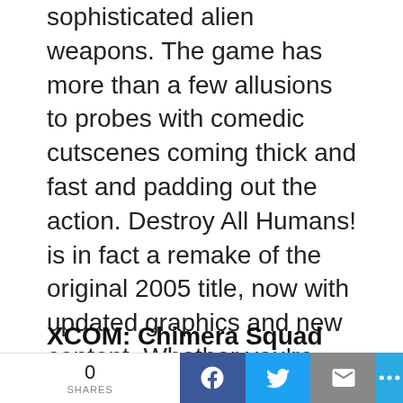sophisticated alien weapons. The game has more than a few allusions to probes with comedic cutscenes coming thick and fast and padding out the action. Destroy All Humans! is in fact a remake of the original 2005 title, now with updated graphics and new content. Whether you're familiar with the original or any of its sequels, or are coming to the franchise fresh, this is the chance you've been waiting for to conduct a successful invasion of earth.
XCOM: Chimera Squad
Chimera Squad is the latest entry in the...
0 SHARES